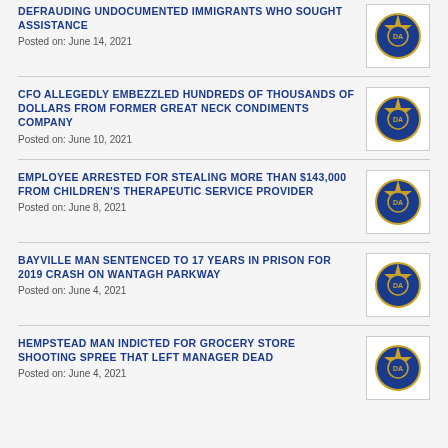DEFRAUDING UNDOCUMENTED IMMIGRANTS WHO SOUGHT ASSISTANCE
Posted on: June 14, 2021
CFO ALLEGEDLY EMBEZZLED HUNDREDS OF THOUSANDS OF DOLLARS FROM FORMER GREAT NECK CONDIMENTS COMPANY
Posted on: June 10, 2021
EMPLOYEE ARRESTED FOR STEALING MORE THAN $143,000 FROM CHILDREN'S THERAPEUTIC SERVICE PROVIDER
Posted on: June 8, 2021
BAYVILLE MAN SENTENCED TO 17 YEARS IN PRISON FOR 2019 CRASH ON WANTAGH PARKWAY
Posted on: June 4, 2021
HEMPSTEAD MAN INDICTED FOR GROCERY STORE SHOOTING SPREE THAT LEFT MANAGER DEAD
Posted on: June 4, 2021